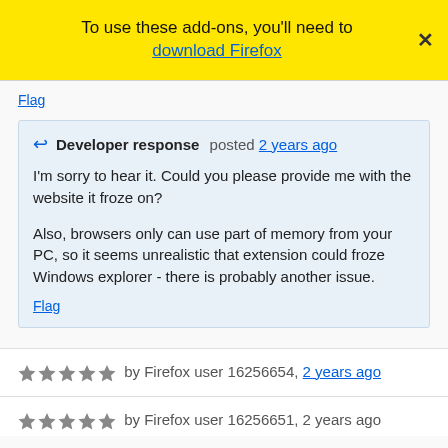To use these add-ons, you'll need to download Firefox ×
Flag
Developer response posted 2 years ago

I'm sorry to hear it. Could you please provide me with the website it froze on?

Also, browsers only can use part of memory from your PC, so it seems unrealistic that extension could froze Windows explorer - there is probably another issue.

Flag
★★★★★ by Firefox user 16256654, 2 years ago
★★★★★ by Firefox user 16256651, 2 years ago